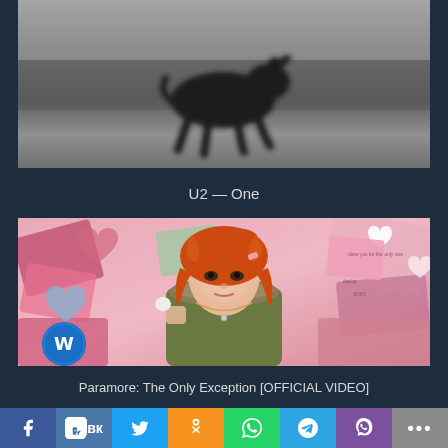[Figure (screenshot): Black and white video thumbnail showing an animal silhouette (appears to be a dog or buffalo) in motion against a grey background — U2 'One' music video thumbnail]
U2 — One
[Figure (photo): Paramore music video thumbnail showing a young woman with bright red/orange hair lying down, wearing a green jacket with fur collar, surrounded by colorful paper hearts collage background. Warner Bros logo visible in lower left.]
Paramore: The Only Exception [OFFICIAL VIDEO]
[Figure (infographic): Social media sharing bar with buttons for Facebook, VK, Twitter, Odnoklassniki, WhatsApp, Telegram, Viber, and more (...)]